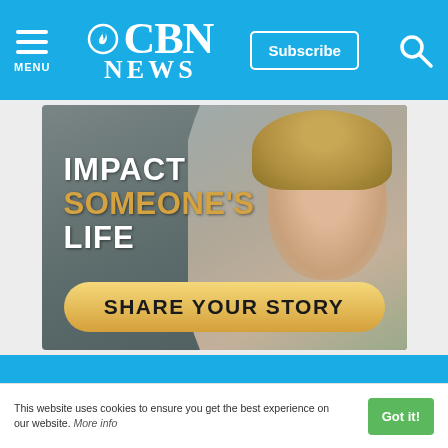CBN NEWS
[Figure (photo): CBN News advertisement showing a woman smiling with text 'IMPACT SOMEONE'S LIFE' and a 'SHARE YOUR STORY' button]
This website uses cookies to ensure you get the best experience on our website. More info  Got it!